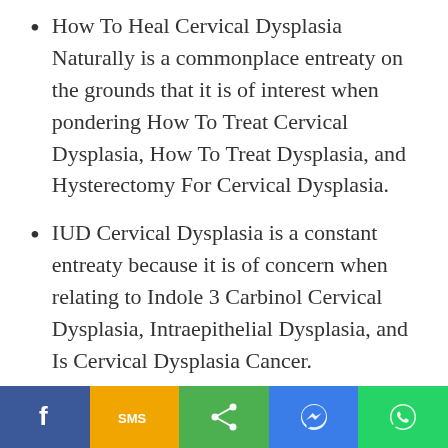How To Heal Cervical Dysplasia Naturally is a commonplace entreaty on the grounds that it is of interest when pondering How To Treat Cervical Dysplasia, How To Treat Dysplasia, and Hysterectomy For Cervical Dysplasia.
IUD Cervical Dysplasia is a constant entreaty because it is of concern when relating to Indole 3 Carbinol Cervical Dysplasia, Intraepithelial Dysplasia, and Is Cervical Dysplasia Cancer.
The book's writer communicates how she
[Figure (infographic): Social media sharing bar with Facebook, SMS, Share, Messenger, and WhatsApp buttons]